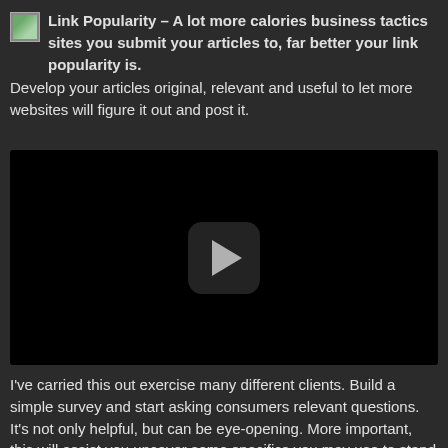Link Popularity – A lot more calories business tactics sites you submit your articles to, far better your link popularity is. Develop your articles original, relevant and useful to let more websites will figure it out and post it.
[Figure (screenshot): Embedded video player with black background and a rounded-square play button in the center]
I've carried this out exercise many different clients. Build a simple survey and start asking consumers relevant questions. It's not only helpful, but can be eye-opening. More important, this will assist you uncover some specifics you may use to stand out – and isn't that the key to attracting more profitable